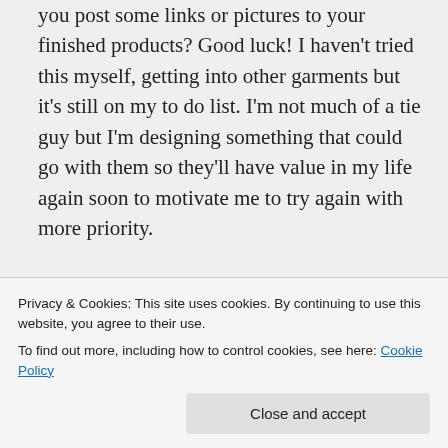you post some links or pictures to your finished products? Good luck! I haven't tried this myself, getting into other garments but it's still on my to do list. I'm not much of a tie guy but I'm designing something that could go with them so they'll have value in my life again soon to motivate me to try again with more priority.
★ Like
Privacy & Cookies: This site uses cookies. By continuing to use this website, you agree to their use. To find out more, including how to control cookies, see here: Cookie Policy
Close and accept